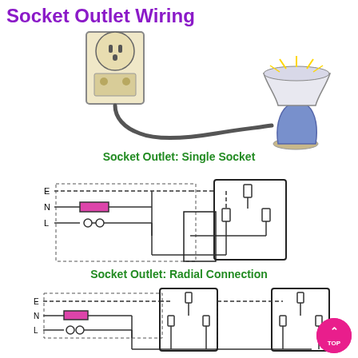Socket Outlet Wiring
[Figure (illustration): Illustration of a wall socket outlet with a plug and cord connected to a table lamp]
[Figure (schematic): Socket Outlet: Single Socket wiring diagram showing E, N, L terminals connected via components to a single socket outlet]
[Figure (schematic): Socket Outlet: Radial Connection wiring diagram showing E, N, L terminals connected to two socket outlets in radial configuration]